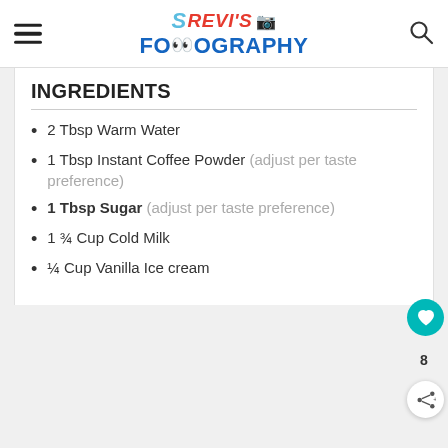Srevi's Foodography
INGREDIENTS
2 Tbsp Warm Water
1 Tbsp Instant Coffee Powder (adjust per taste preference)
1 Tbsp Sugar (adjust per taste preference)
1 ¾ Cup Cold Milk
¼ Cup Vanilla Ice cream